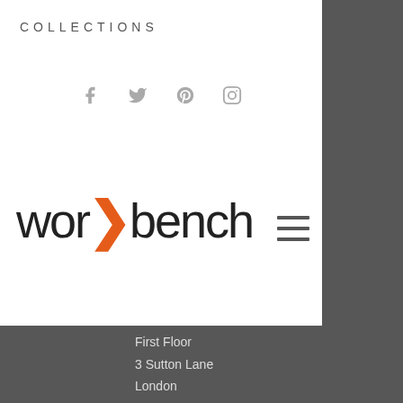COLLECTIONS
[Figure (other): Social media icons row (Facebook, Twitter, Pinterest, Instagram) in grey]
[Figure (logo): Workbench logo - text logo with orange arrow/chevron between 'work' and 'bench']
First Floor
3 Sutton Lane
London
EC1M 5PU
+44 (0) 2072 519 336
enquiries@workbenchltd.co.uk
[Figure (other): Social media icons row (Facebook, Twitter, Pinterest, Instagram) in grey on dark background]
Affiliations